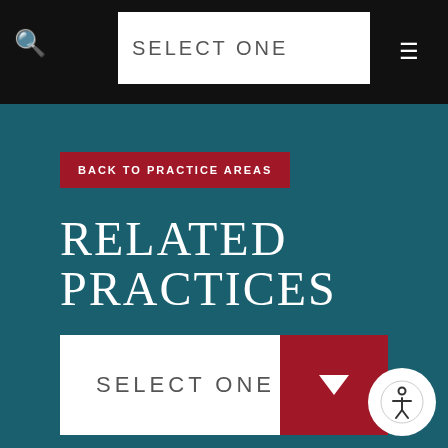SELECT ONE
BACK TO PRACTICE AREAS
RELATED PRACTICES
SELECT ONE
FIND AN ATTORNEY
Name